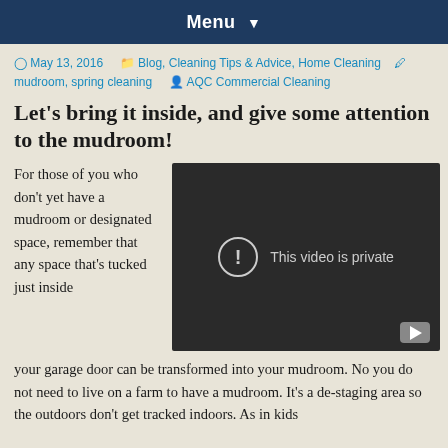Menu ▼
May 13, 2016   Blog, Cleaning Tips & Advice, Home Cleaning   mudroom, spring cleaning   AQC Commercial Cleaning
Let's bring it inside, and give some attention to the mudroom!
For those of you who don't yet have a mudroom or designated space, remember that any space that's tucked just inside your garage door can be transformed into your mudroom. No you do not need to live on a farm to have a mudroom. It's a de-staging area so the outdoors don't get tracked indoors. As in kids
[Figure (screenshot): Embedded YouTube video player showing 'This video is private' message with warning icon and YouTube play button icon in dark background]